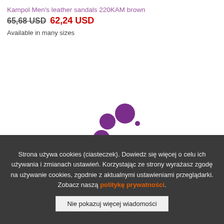Kampol Men's leather sandals 220KAM brown
65,68 USD  62,24 USD
Available in many sizes
[Figure (other): Purple loading spinner animation with multiple circles of varying sizes arranged in a circular pattern]
Strona używa cookies (ciasteczek). Dowiedz się więcej o celu ich używania i zmianach ustawień. Korzystając ze strony wyrażasz zgodę na używanie cookies, zgodnie z aktualnymi ustawieniami przeglądarki. Zobacz naszą politykę prywatności.
Nie pokazuj więcej wiadomości